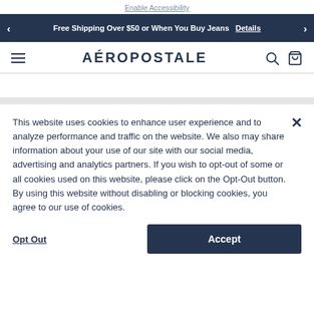Enable Accessibility
Free Shipping Over $50 or When You Buy Jeans  Details
AÉROPOSTALE
This website uses cookies to enhance user experience and to analyze performance and traffic on the website. We also may share information about your use of our site with our social media, advertising and analytics partners. If you wish to opt-out of some or all cookies used on this website, please click on the Opt-Out button. By using this website without disabling or blocking cookies, you agree to our use of cookies.
Opt Out
Accept